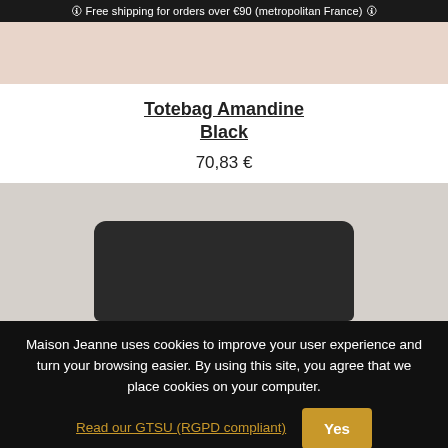🛈 Free shipping for orders over €90 (metropolitan France) 🛈
[Figure (photo): Top portion of a product image with pinkish-beige background]
Totebag Amandine Black
70,83 €
[Figure (photo): Photo of a black tote bag (Amandine Black) on a light gray/beige background, showing the top portion of the bag]
Maison Jeanne uses cookies to improve your user experience and turn your browsing easier. By using this site, you agree that we place cookies on your computer. Read our GTSU (RGPD compliant)  Yes